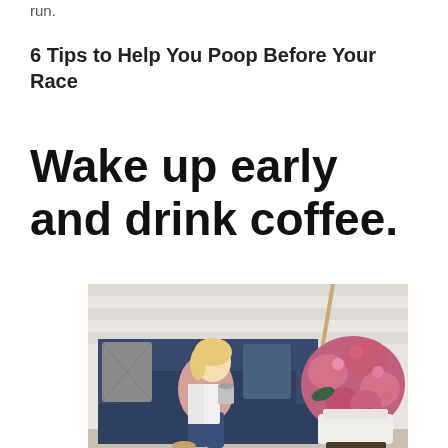run.
6 Tips to Help You Poop Before Your Race
Wake up early and drink coffee.
[Figure (photo): A blonde woman sitting on a navy blue outdoor couch/swing, reading a book and holding a cup, with pink mums in a white pot beside her on a porch.]